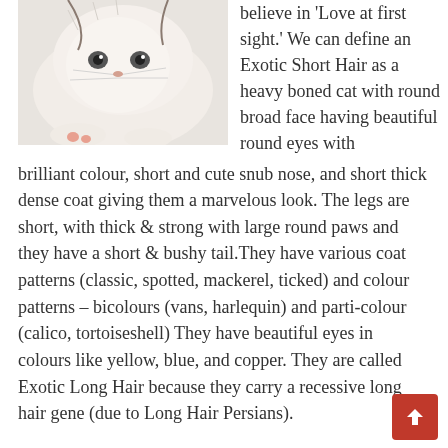[Figure (photo): Close-up photo of a white fluffy cat lying down, showing its face and paws]
believe in 'Love at first sight.' We can define an Exotic Short Hair as a heavy boned cat with round broad face having beautiful round eyes with brilliant colour, short and cute snub nose, and short thick dense coat giving them a marvelous look. The legs are short, with thick & strong with large round paws and they have a short & bushy tail.They have various coat patterns (classic, spotted, mackerel, ticked) and colour patterns – bicolours (vans, harlequin) and parti-colour (calico, tortoiseshell) They have beautiful eyes in colours like yellow, blue, and copper. They are called Exotic Long Hair because they carry a recessive long hair gene (due to Long Hair Persians).
Know the nature and temperament
Exotic Long Hairs are affectionate and gentle. They are intelligent, strongly built and much active as compared to